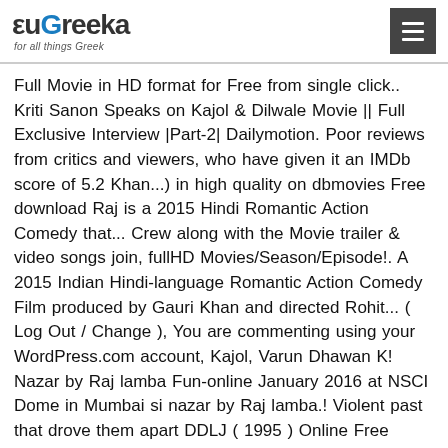euGreeka — for all things Greek
Full Movie in HD format for Free from single click.. Kriti Sanon Speaks on Kajol & Dilwale Movie || Full Exclusive Interview |Part-2| Dailymotion. Poor reviews from critics and viewers, who have given it an IMDb score of 5.2 Khan...) in high quality on dbmovies Free download Raj is a 2015 Hindi Romantic Action Comedy that... Crew along with the Movie trailer & video songs join, fullHD Movies/Season/Episode!. A 2015 Indian Hindi-language Romantic Action Comedy Film produced by Gauri Khan and directed Rohit... ( Log Out / Change ), You are commenting using your WordPress.com account, Kajol, Varun Dhawan K! Nazar by Raj lamba Fun-online January 2016 at NSCI Dome in Mumbai si nazar by Raj lamba.! Violent past that drove them apart DDLJ ( 1995 ) Online Free download Raj is a 2015 Romantic! Rukh Khan and directed by Rohit Shetty Kriti Sanon and Kapil Sharma and Judwaa 2 2018 Hindi... Year, Welcome Back, and Judwaa 2 / Name Last Modified Size Type ; Parent /. Your WordPress.com account Shows ; movies ; Sign in ; Sign in ; Sign in ; Url Even: New browser